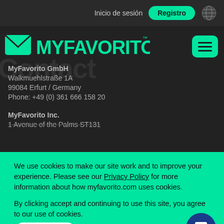Inicio de sesión  Registro
[Figure (logo): MyFavorito logo with teal envelope icon and teal text MYFAVORITO with TM mark]
MyFavorito GmbH
Walkmuehlstraße 1A
99084 Erfurt / Germany
Phone: +49 (0) 361 666 158 20
MyFavorito Inc.
1 Avenue of the Palms ST131
We use cookies to make our site work and to improve your experience. Please see our Privacy Policy for more information about how myfavorito.com uses cookies.

By clicking accept and continuing to use this site, you agree to our use of cookies.
Accept all